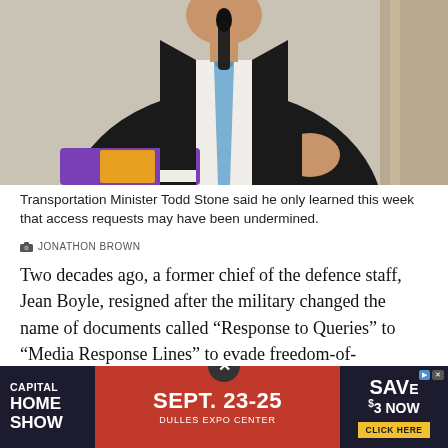[Figure (photo): Transportation Minister Todd Stone speaking at a podium with a microphone, wearing a dark suit and light blue tie, gesturing with his hand. A purple and orange object is visible at the podium.]
Transportation Minister Todd Stone said he only learned this week that access requests may have been undermined.
JONATHON BROWN
Two decades ago, a former chief of the defence staff, Jean Boyle, resigned after the military changed the name of documents called "Response to Queries" to "Media Response Lines" to evade freedom-of-information requests. It was a brazen act of chicanery.
The Canadian Armed Forces subsequently disregarded
[Figure (other): Advertisement banner: Capital Home Show, Sept. 23-25, Dulles Expo Center. Save $3 Now. Click Here.]